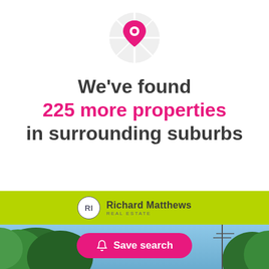[Figure (illustration): Location pin icon (pink/magenta) overlaid on a circular map graphic (light grey with road lines)]
We've found 225 more properties in surrounding suburbs
[Figure (logo): Richard Matthews Real Estate logo on a lime green bar — circular RI monogram badge and company name]
[Figure (photo): Outdoor photo showing trees and blue sky, antenna in background]
Save search